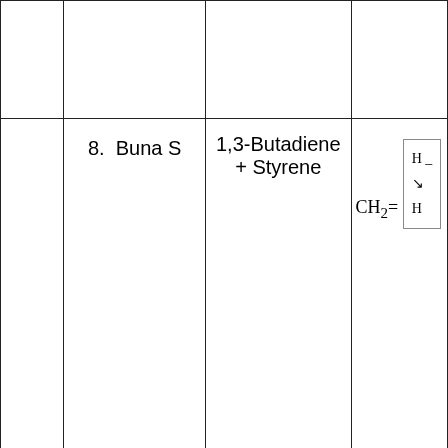|  | Name | Monomers | Structure |
| --- | --- | --- | --- |
|  |  |  |  |
| 8. | Buna S | 1,3-Butadiene + Styrene | CH2= ... |
[Figure (screenshot): Social media share buttons: Facebook, WhatsApp, Twitter, Pinterest, Telegram, Copy Link, and a subscribe/eye icon button arranged in a 2-column grid with colored backgrounds]
No comments:
[Figure (screenshot): Related post thumbnail showing Dalton Atomic Theory book cover]
Chemistry Definitions : Basics of Atoms and Mole...